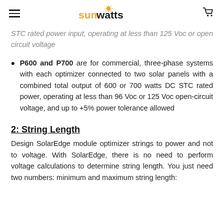sunwatts
STC rated power input, operating at less than 125 Voc or open circuit voltage
P600 and P700 are for commercial, three-phase systems with each optimizer connected to two solar panels with a combined total output of 600 or 700 watts DC STC rated power, operating at less than 96 Voc or 125 Voc open-circuit voltage, and up to +5% power tolerance allowed
2: String Length
Design SolarEdge module optimizer strings to power and not to voltage. With SolarEdge, there is no need to perform voltage calculations to determine string length. You just need two numbers: minimum and maximum string length: